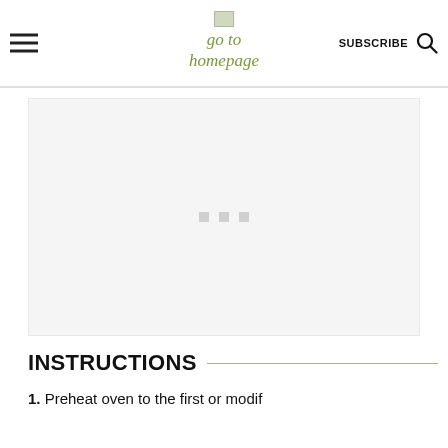go to homepage | SUBSCRIBE
[Figure (other): Advertisement placeholder box with three small grey squares in the center]
INSTRUCTIONS
1. Preheat oven to the first or modif...